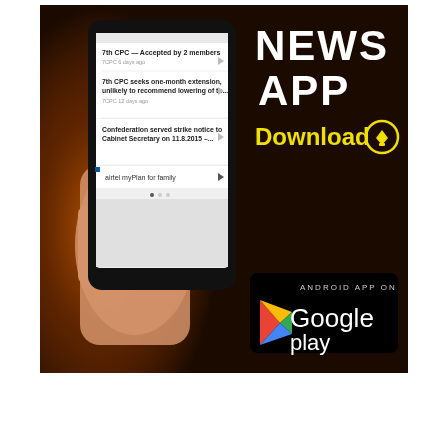[Figure (screenshot): Advertisement banner for a News App showing a hand holding a smartphone with news headlines on screen, text 'NEWS APP Download' in white and yellow, and an Android Google Play download badge on dark background.]